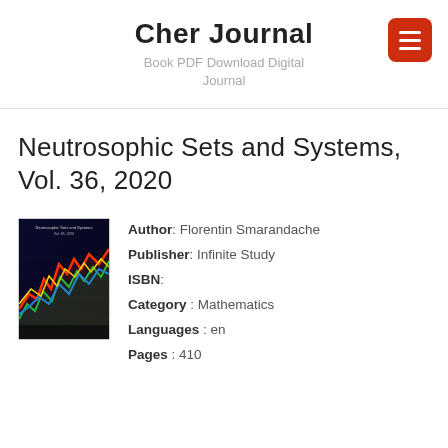Cher Journal
Book PDF Download Digital Journal
Neutrosophic Sets and Systems, Vol. 36, 2020
[Figure (illustration): Book cover of Neutrosophic Sets and Systems Vol. 36, 2020 showing colorful data visualization graphics on a dark background]
Author: Florentin Smarandache
Publisher: Infinite Study
ISBN:
Category : Mathematics
Languages : en
Pages : 410